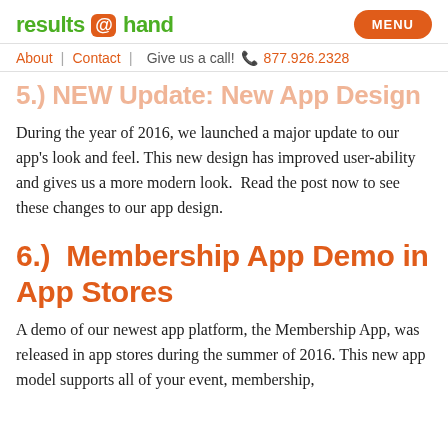results @ hand  MENU  About | Contact | Give us a call! 877.926.2328
5.)  NEW Update: New App Design
During the year of 2016, we launched a major update to our app's look and feel. This new design has improved user-ability and gives us a more modern look.  Read the post now to see these changes to our app design.
6.)  Membership App Demo in App Stores
A demo of our newest app platform, the Membership App, was released in app stores during the summer of 2016. This new app model supports all of your event, membership,